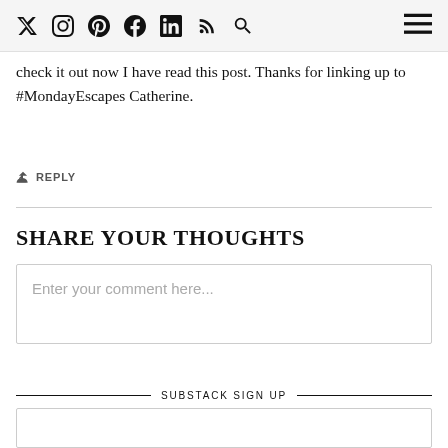Social media icons and menu
check it out now I have read this post. Thanks for linking up to #MondayEscapes Catherine.
REPLY
SHARE YOUR THOUGHTS
Enter your comment here...
SUBSTACK SIGN UP